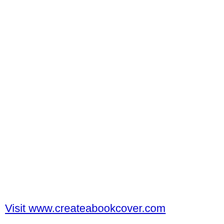Visit www.createabookcover.com